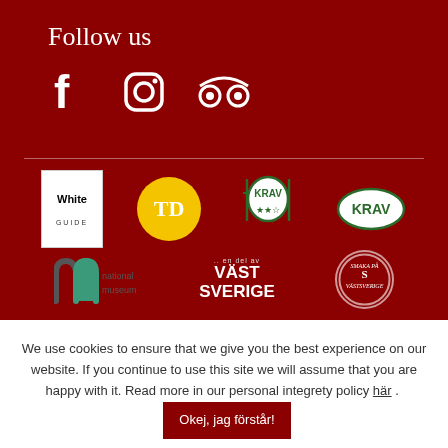Follow us
[Figure (logo): Social media icons: Facebook, Instagram, TripAdvisor]
[Figure (logo): Partner logos: White Guide, TD (yellow circle), KRAV restaurant, KRAV organic]
[Figure (logo): Nationalmuseum logo, Väst Sverige logo, Smaka på Västsverige badge]
We use cookies to ensure that we give you the best experience on our website. If you continue to use this site we will assume that you are happy with it. Read more in our personal integrety policy här .
Okej, jag förstår!